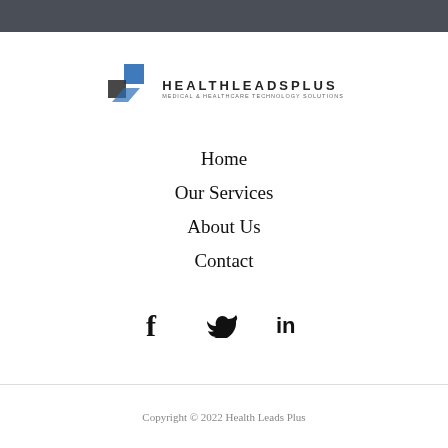[Figure (logo): HealthLeadsPlus logo with blue and dark geometric shapes and the text HEALTHLEADSPLUS]
Home
Our Services
About Us
Contact
[Figure (illustration): Social media icons: Facebook, Twitter, LinkedIn]
Copyright © 2022 Health Leads Plus